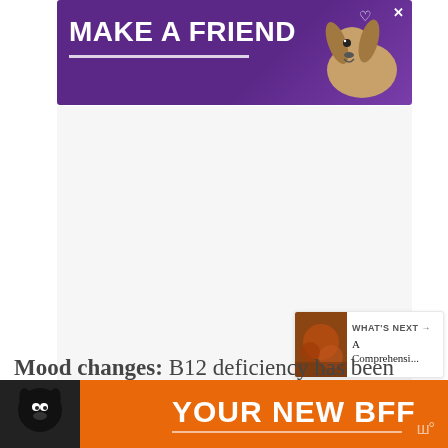[Figure (photo): Purple advertisement banner reading MAKE A FRIEND with a dog illustration and heart symbols]
[Figure (photo): Large white/gray empty advertisement space with W° logo in corner]
Disturbed vision: Another symptom may occur when the harm done to the nervous system ends up causing damage to the optic nerve.
[Figure (other): WHAT'S NEXT widget with thumbnail image and text A Comprehensi...]
Mood changes: B12 deficiency has been
[Figure (photo): Orange advertisement banner at bottom reading YOUR NEW BFF with a dog illustration]